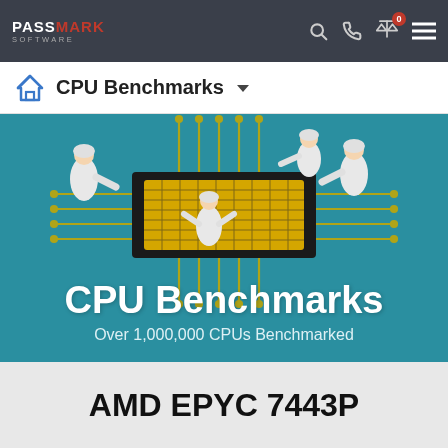PassMark Software — CPU Benchmarks navigation bar
CPU Benchmarks
[Figure (illustration): Hero banner with teal background showing isometric illustration of four scientists/technicians in white lab coats working on a large gold and black CPU chip with circuit board traces. Text overlay: CPU Benchmarks, Over 1,000,000 CPUs Benchmarked]
AMD EPYC 7443P